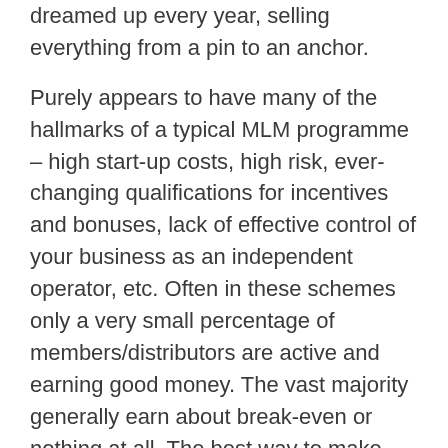dreamed up every year, selling everything from a pin to an anchor.
Purely appears to have many of the hallmarks of a typical MLM programme – high start-up costs, high risk, ever-changing qualifications for incentives and bonuses, lack of effective control of your business as an independent operator, etc. Often in these schemes only a very small percentage of members/distributors are active and earning good money. The vast majority generally earn about break-even or nothing at all. The best way to make money and reduce risk in an MLM programme such as this is not